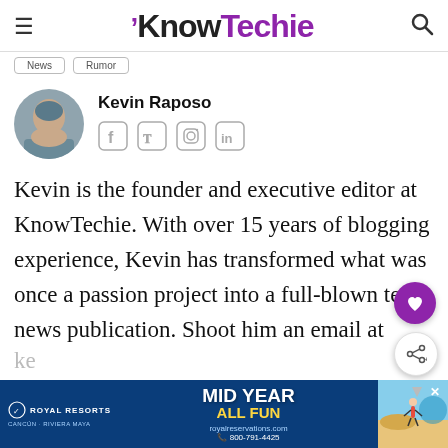KnowTechie
News  Rumor
[Figure (photo): Circular avatar photo of Kevin Raposo, a man with short hair]
Kevin Raposo
[Figure (infographic): Social media icons: Facebook, Twitter, Instagram, LinkedIn]
Kevin is the founder and executive editor at KnowTechie. With over 15 years of blogging experience, Kevin has transformed what was once a passion project into a full-blown tech news publication. Shoot him an email at ke...
[Figure (infographic): Advertisement banner for Royal Resorts - Mid Year All Fun, Cancun Riviera Maya, royalreservations.com, 800-791-4425]